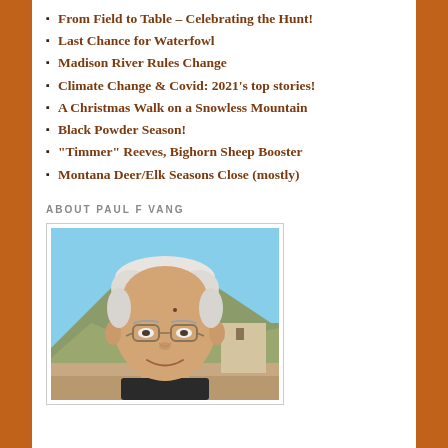From Field to Table – Celebrating the Hunt!
Last Chance for Waterfowl
Madison River Rules Change
Climate Change & Covid: 2021's top stories!
A Christmas Walk on a Snowless Mountain
Black Powder Season!
"Timmer" Reeves, Bighorn Sheep Booster
Montana Deer/Elk Seasons Close (mostly)
ABOUT PAUL F VANG
[Figure (photo): Portrait photo of Paul F Vang, an older man with white/grey hair, glasses, smiling, outdoors with mountains in background]